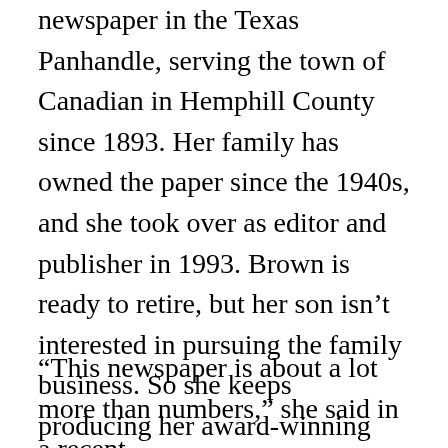newspaper in the Texas Panhandle, serving the town of Canadian in Hemphill County since 1893. Her family has owned the paper since the 1940s, and she took over as editor and publisher in 1993. Brown is ready to retire, but her son isn't interested in pursuing the family business. So she keeps producing her award-winning paper (circulation 1,613) while trying to find someone who will care about her neighbors as much as she does.
“This newspaper is about a lot more than numbers,” she said in a recent